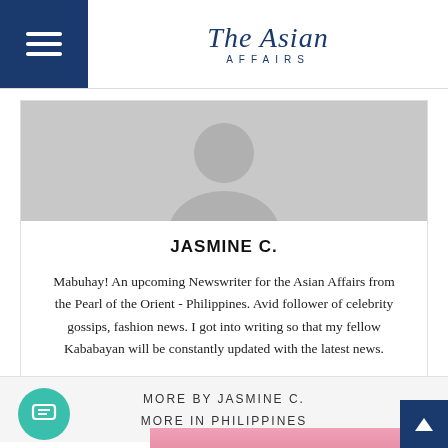The Asian Affairs
[Figure (illustration): Author avatar silhouette — grey person icon in a circle]
JASMINE C.
Mabuhay! An upcoming Newswriter for the Asian Affairs from the Pearl of the Orient - Philippines. Avid follower of celebrity gossips, fashion news. I got into writing so that my fellow Kababayan will be constantly updated with the latest news.
MORE BY JASMINE C.
MORE IN PHILIPPINES
[Figure (photo): Partial photo at bottom showing woman in pink cap with pink background]